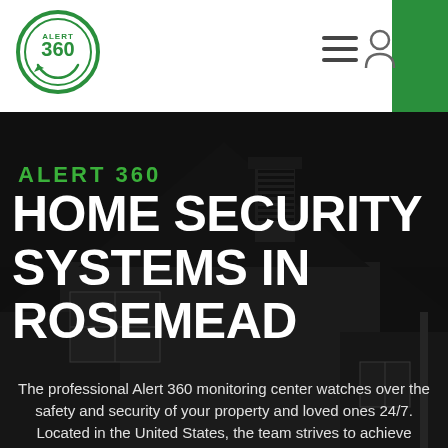[Figure (logo): Alert 360 circular logo with green border and arrow]
[Figure (photo): Dark background photo of a house exterior with gabled roofline and windows]
ALERT 360
HOME SECURITY SYSTEMS IN ROSEMEAD
The professional Alert 360 monitoring center watches over the safety and security of your property and loved ones 24/7. Located in the United States, the team strives to achieve excellence in response time and customer